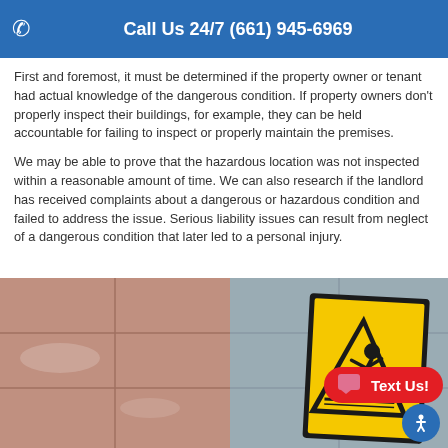Call Us 24/7 (661) 945-6969
First and foremost, it must be determined if the property owner or tenant had actual knowledge of the dangerous condition. If property owners don't properly inspect their buildings, for example, they can be held accountable for failing to inspect or properly maintain the premises.
We may be able to prove that the hazardous location was not inspected within a reasonable amount of time. We can also research if the landlord has received complaints about a dangerous or hazardous condition and failed to address the issue. Serious liability issues can result from neglect of a dangerous condition that later led to a personal injury.
[Figure (photo): A wet floor with a yellow caution/warning sign (triangular slip hazard symbol) on a tiled surface, partially obscured by a red 'Text Us!' chat button overlay and a blue accessibility button in the bottom corner.]